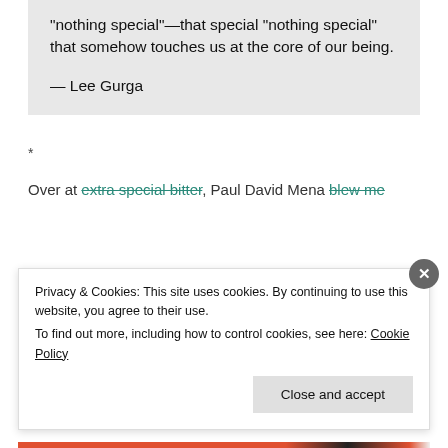“nothing special”—that special “nothing special” that somehow touches us at the core of our being.
— Lee Gurga
*
Over at extra special bitter, Paul David Mena blew me
Privacy & Cookies: This site uses cookies. By continuing to use this website, you agree to their use.
To find out more, including how to control cookies, see here: Cookie Policy